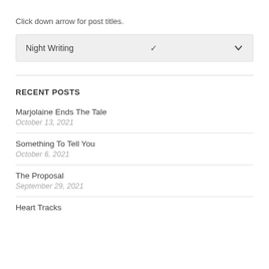Click down arrow for post titles.
Night Writing
RECENT POSTS
Marjolaine Ends The Tale
October 13, 2021
Something To Tell You
October 6, 2021
The Proposal
September 29, 2021
Heart Tracks